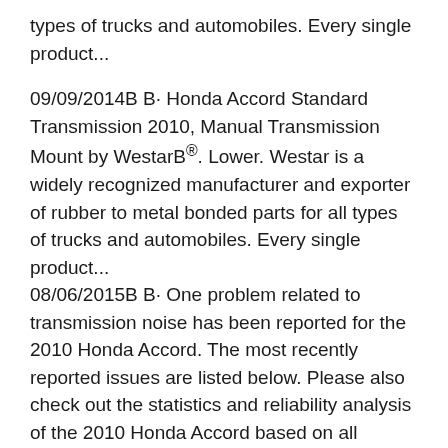types of trucks and automobiles. Every single product...
09/09/2014B B· Honda Accord Standard Transmission 2010, Manual Transmission Mount by WestarB®. Lower. Westar is a widely recognized manufacturer and exporter of rubber to metal bonded parts for all types of trucks and automobiles. Every single product... 08/06/2015B B· One problem related to transmission noise has been reported for the 2010 Honda Accord. The most recently reported issues are listed below. Please also check out the statistics and reliability analysis of the 2010 Honda Accord based on all problems reported for the 2010 Accord.